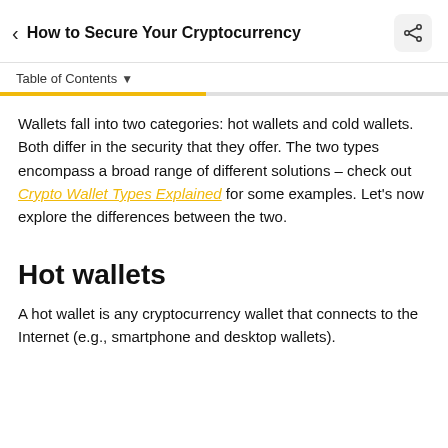How to Secure Your Cryptocurrency
Table of Contents
Wallets fall into two categories: hot wallets and cold wallets. Both differ in the security that they offer. The two types encompass a broad range of different solutions – check out Crypto Wallet Types Explained for some examples. Let's now explore the differences between the two.
Hot wallets
A hot wallet is any cryptocurrency wallet that connects to the Internet (e.g., smartphone and desktop wallets).